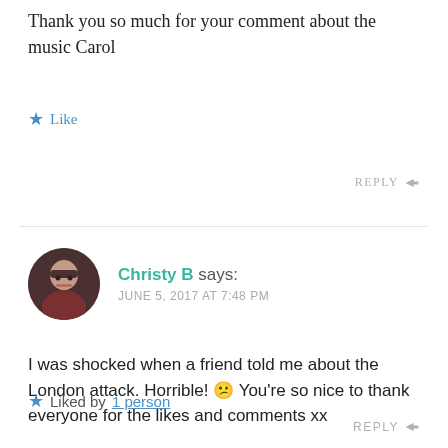Thank you so much for your comment about the music Carol
Like
REPLY
Christy B says: JUNE 5, 2017 AT 7:48 PM
I was shocked when a friend told me about the London attack. Horrible! 😕 You're so nice to thank everyone for the likes and comments xx
Liked by 1 person
REPLY